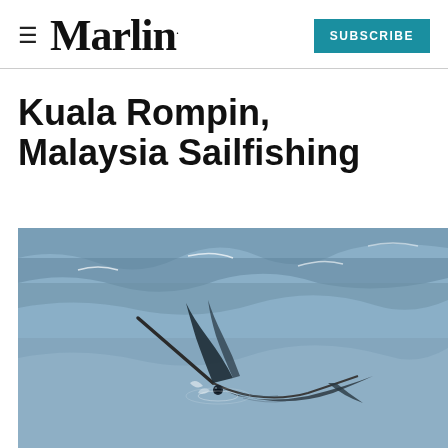Marlin | SUBSCRIBE
Kuala Rompin, Malaysia Sailfishing
[Figure (photo): A sailfish leaping from choppy ocean water, showing its long bill and dorsal fin, with blue-grey waves in the background.]